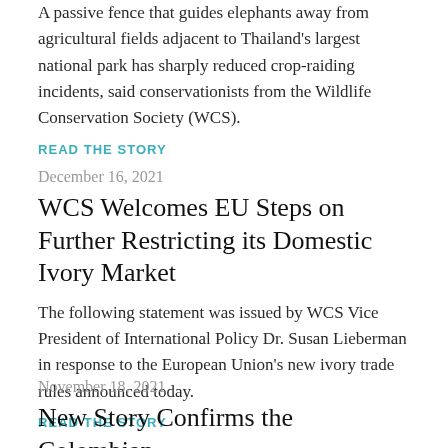A passive fence that guides elephants away from agricultural fields adjacent to Thailand's largest national park has sharply reduced crop-raiding incidents, said conservationists from the Wildlife Conservation Society (WCS).
READ THE STORY
December 16, 2021
WCS Welcomes EU Steps on Further Restricting its Domestic Ivory Market
The following statement was issued by WCS Vice President of International Policy Dr. Susan Lieberman in response to the European Union's new ivory trade rules announced today.
READ THE STORY
November 18, 2021
New Story Confirms the Colombian...